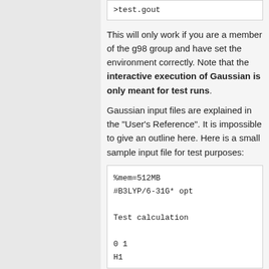>test.gout
This will only work if you are a member of the g98 group and have set the environment correctly. Note that the interactive execution of Gaussian is only meant for test runs.
Gaussian input files are explained in the "User's Reference". It is impossible to give an outline here. Here is a small sample input file for test purposes:
%mem=512MB
#B3LYP/6-31G* opt

Test calculation

0 1
H1